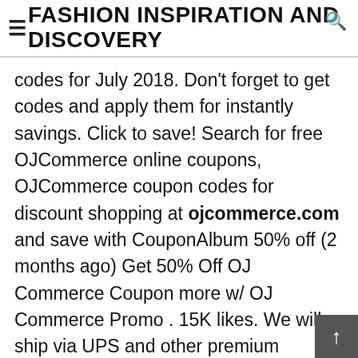FASHION INSPIRATION AND DISCOVERY
codes for July 2018. Don't forget to get codes and apply them for instantly savings. Click to save! Search for free OJCommerce online coupons, OJCommerce coupon codes for discount shopping at ojcommerce.com and save with CouponAlbum 50% off (2 months ago) Get 50% Off OJ Commerce Coupon more w/ OJ Commerce Promo . 15K likes. We will ship via UPS and other premium carriers to ensure expedited service. (Get 75% OFF) with OJ Commerce Coupon Codes, Voucher Codes and Promo Codes. Sign Up & Save 10% Off On